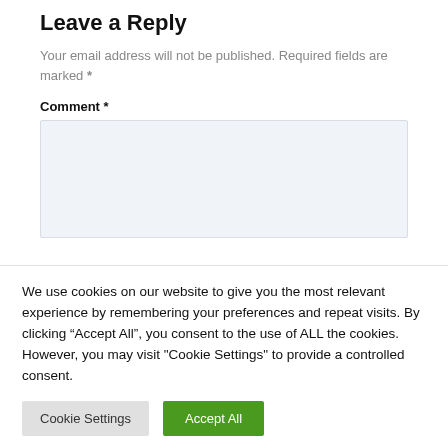Leave a Reply
Your email address will not be published. Required fields are marked *
Comment *
We use cookies on our website to give you the most relevant experience by remembering your preferences and repeat visits. By clicking “Accept All”, you consent to the use of ALL the cookies. However, you may visit "Cookie Settings" to provide a controlled consent.